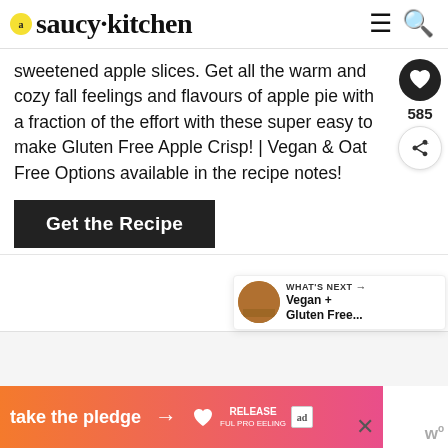saucy kitchen
sweetened apple slices. Get all the warm and cozy fall feelings and flavours of apple pie with a fraction of the effort with these super easy to make Gluten Free Apple Crisp! | Vegan & Oat Free Options available in the recipe notes!
Get the Recipe
[Figure (screenshot): Heart/save button with count 585 and share button on right side]
[Figure (infographic): WHAT'S NEXT arrow banner with thumbnail image and text: Vegan + Gluten Free...]
[Figure (infographic): Ad banner: take the pledge with arrow, RELEASE logo, ad badge, close X button]